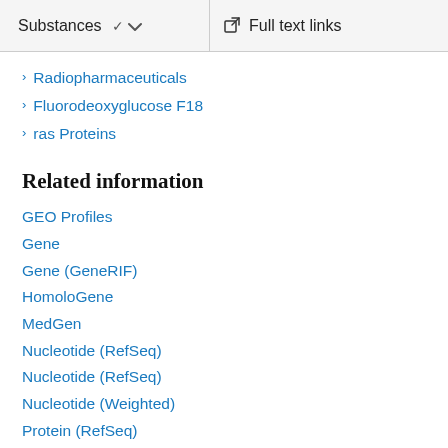Substances  Full text links
Radiopharmaceuticals
Fluorodeoxyglucose F18
ras Proteins
Related information
GEO Profiles
Gene
Gene (GeneRIF)
HomoloGene
MedGen
Nucleotide (RefSeq)
Nucleotide (RefSeq)
Nucleotide (Weighted)
Protein (RefSeq)
Protein (Weighted)